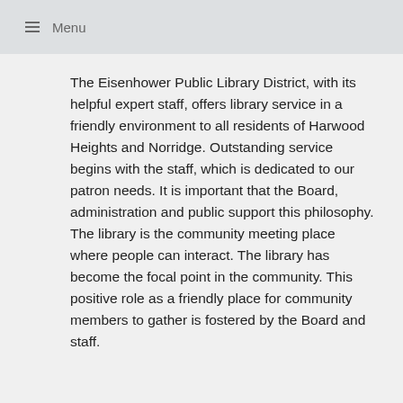≡ Menu
The Eisenhower Public Library District, with its helpful expert staff, offers library service in a friendly environment to all residents of Harwood Heights and Norridge. Outstanding service begins with the staff, which is dedicated to our patron needs. It is important that the Board, administration and public support this philosophy. The library is the community meeting place where people can interact. The library has become the focal point in the community. This positive role as a friendly place for community members to gather is fostered by the Board and staff.